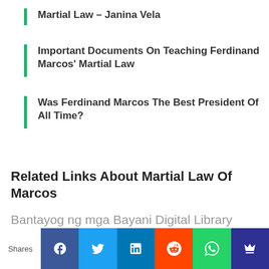Martial Law – Janina Vela
Important Documents On Teaching Ferdinand Marcos' Martial Law
Was Ferdinand Marcos The Best President Of All Time?
Related Links About Martial Law Of Marcos
Bantayog ng mga Bayani Digital Library
Digital Museum Of Martial Law In The Philippines